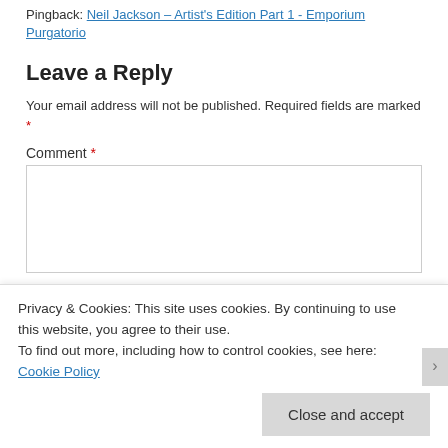Pingback: Neil Jackson – Artist's Edition Part 1 - Emporium Purgatorio
Leave a Reply
Your email address will not be published. Required fields are marked *
Comment *
Privacy & Cookies: This site uses cookies. By continuing to use this website, you agree to their use.
To find out more, including how to control cookies, see here: Cookie Policy
Close and accept